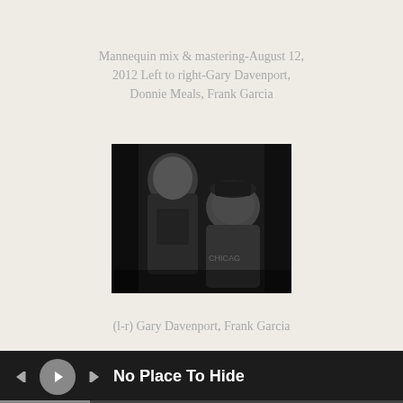Mannequin mix & mastering-August 12, 2012 Left to right-Gary Davenport, Donnie Meals, Frank Garcia
[Figure (photo): Black and white photograph of two men in a dark room. Left man is taller, standing, wearing a t-shirt with a graphic print. Right man is seated, wearing a cap and a shirt. Low-light indoor setting.]
(l-r) Gary Davenport, Frank Garcia
No Place To Hide